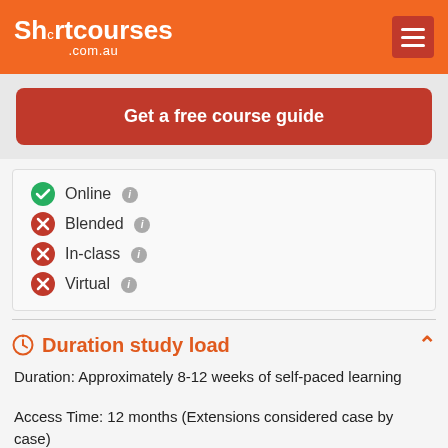Shcrtcourses .com.au
Get a free course guide
Online
Blended
In-class
Virtual
Duration study load
Duration: Approximately 8-12 weeks of self-paced learning
Access Time: 12 months (Extensions considered case by case)